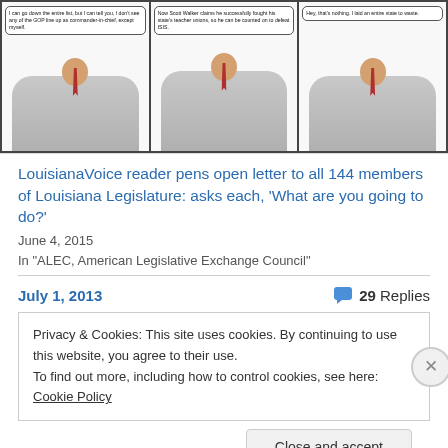[Figure (illustration): Three-panel political cartoon showing men in suits with speech bubbles. Panel 1: 'I can go down the entire list, but I can tell you, I don't see any of the GOP line up as commander-in-chief, except myself.' Panel 2: 'Now Scott Walker claims he successfully fought his state's teacher unions, so he can be counted on to defeat ISIS.' Panel 3: 'Hey, that's nothing. I laid an entire state to waste.']
LouisianaVoice reader pens open letter to all 144 members of Louisiana Legislature: asks each, ‘What are you going to do?’
June 4, 2015
In "ALEC, American Legislative Exchange Council"
July 1, 2013
29 Replies
Privacy & Cookies: This site uses cookies. By continuing to use this website, you agree to their use.
To find out more, including how to control cookies, see here: Cookie Policy
Close and accept